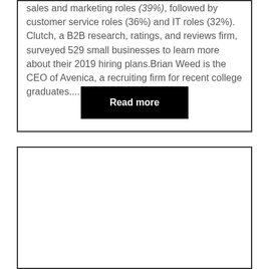sales and marketing roles (39%), followed by customer service roles (36%) and IT roles (32%). Clutch, a B2B research, ratings, and reviews firm, surveyed 529 small businesses to learn more about their 2019 hiring plans.Brian Weed is the CEO of Avenica, a recruiting firm for recent college graduates....
[Figure (other): Black 'Read more' button]
[Figure (other): Empty white card/box with border]